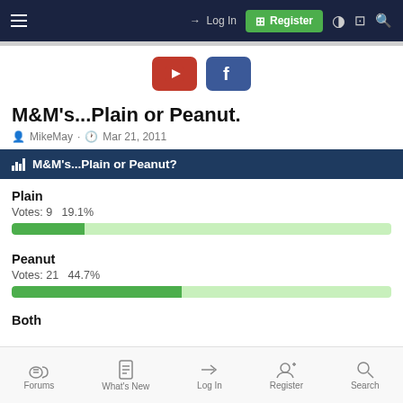Log In | Register
[Figure (logo): YouTube and Facebook social media buttons]
M&M's...Plain or Peanut.
MikeMay · Mar 21, 2011
M&M's...Plain or Peanut?
Plain
Votes: 9  19.1%
Peanut
Votes: 21  44.7%
Both
Forums | What's New | Log In | Register | Search